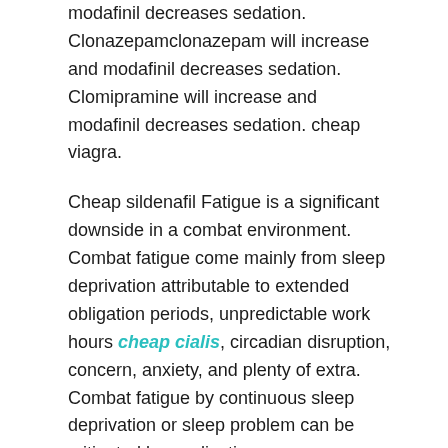modafinil decreases sedation. Clonazepamclonazepam will increase and modafinil decreases sedation. Clomipramine will increase and modafinil decreases sedation. cheap viagra.
Cheap sildenafil Fatigue is a significant downside in a combat environment. Combat fatigue come mainly from sleep deprivation attributable to extended obligation periods, unpredictable work hours cheap cialis, circadian disruption, concern, anxiety, and plenty of extra. Combat fatigue by continuous sleep deprivation or sleep problem can be mitigated by medication. Pharmacological countermeasure is to use hypnotics for deep sleep and sleep-control and/or waking drugs for enhancing alertness and enhancing psychomotor activities . buy viagra online.
By continuous sleep deprivation, No studies have elucidate that...